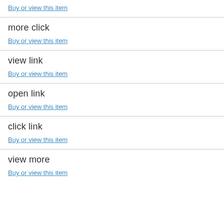Buy or view this item
more click
Buy or view this item
view link
Buy or view this item
open link
Buy or view this item
click link
Buy or view this item
view more
Buy or view this item